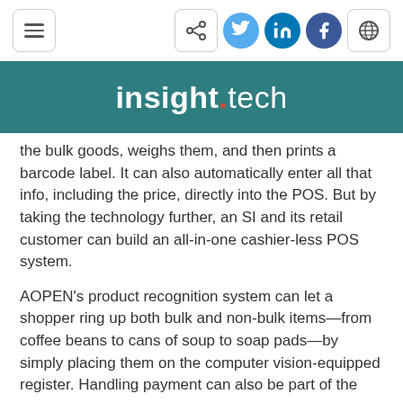insight.tech navigation bar with menu, share, social icons (Twitter, LinkedIn, Facebook), and globe icon
[Figure (screenshot): insight.tech website header banner with teal/dark green background showing 'insight.tech' logo in white text with orange dot]
the bulk goods, weighs them, and then prints a barcode label. It can also automatically enter all that info, including the price, directly into the POS. But by taking the technology further, an SI and its retail customer can build an all-in-one cashier-less POS system.
AOPEN's product recognition system can let a shopper ring up both bulk and non-bulk items—from coffee beans to cans of soup to soap pads—by simply placing them on the computer vision-equipped register. Handling payment can also be part of the